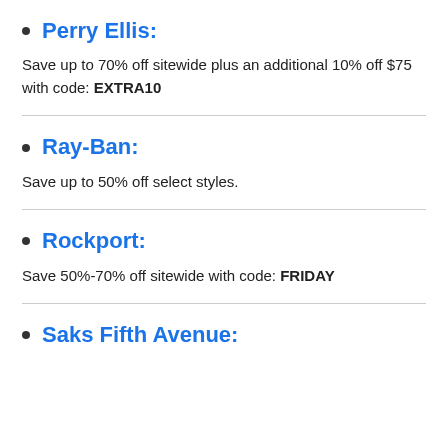Perry Ellis:
Save up to 70% off sitewide plus an additional 10% off $75 with code: EXTRA10
Ray-Ban:
Save up to 50% off select styles.
Rockport:
Save 50%-70% off sitewide with code: FRIDAY
Saks Fifth Avenue: